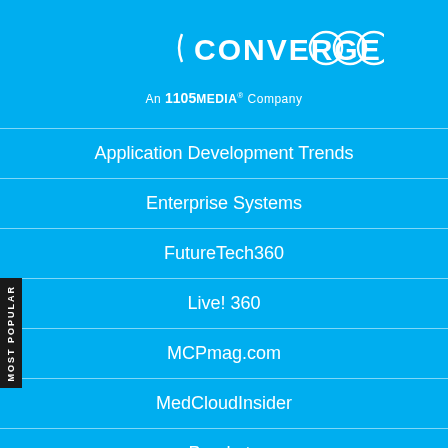[Figure (logo): CONVERGE360 logo with circular arcs and 1105 Media company tag]
An 1105 MEDIA Company
Application Development Trends
Enterprise Systems
FutureTech360
Live! 360
MCPmag.com
MedCloudInsider
Prophyts
Pure AI